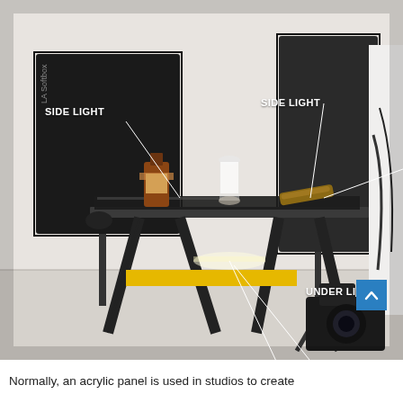[Figure (photo): Studio photography setup showing a black acrylic panel on a sawhorse table with products (bottle, glass, cigar) placed on it. Two softbox side lights illuminate the scene from left and right, and an under light is visible beneath the translucent panel. Labels 'SIDE LIGHT', 'SIDE LIGHT', and 'UNDER LIGHT' are annotated with white lines on the photo. A camera is visible in the bottom right corner. A blue scroll-up button is overlaid in the bottom right.]
Normally, an acrylic panel is used in studios to create